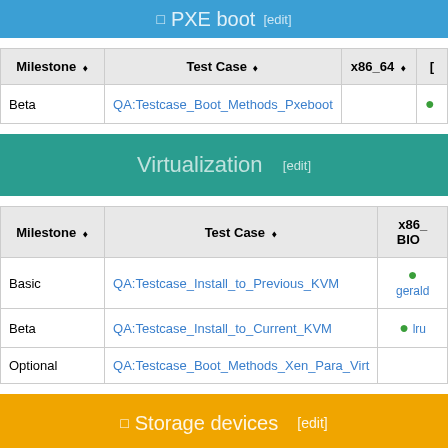□ PXE boot [edit]
| Milestone ⬧ | Test Case ⬧ | x86_64 ⬧ | ... |
| --- | --- | --- | --- |
| Beta | QA:Testcase_Boot_Methods_Pxeboot |  |  |
Virtualization [edit]
| Milestone ⬧ | Test Case ⬧ | x86_ BIOS ... |
| --- | --- | --- |
| Basic | QA:Testcase_Install_to_Previous_KVM | ✓ gerald... |
| Beta | QA:Testcase_Install_to_Current_KVM | ✓ lru... |
| Optional | QA:Testcase_Boot_Methods_Xen_Para_Virt |  |
□ Storage devices [edit]
| Milestone ⬧ | Test Case ⬧ |
| --- | --- |